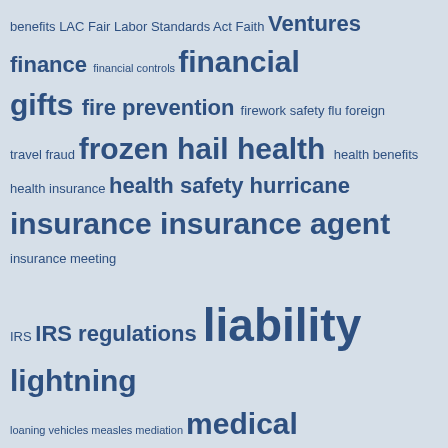[Figure (infographic): Tag cloud with insurance-related terms in varying font sizes on a light blue-grey background. Terms include: benefits, LAC, Fair Labor Standards Act, Faith Ventures, finance, financial controls, financial gifts, fire prevention, firework safety, flu, foreign travel, fraud, frozen, hail, health, health benefits, health insurance, health safety, hurricane, insurance, insurance agent, insurance meeting, IRS, IRS regulations, liability, lightning, loaning vehicles, measles, mediation, medical emergency, medical team, ministry, ministry payroll, mission insurance, mission travel, missions, outdoor activities, pastoral counseling, paying employees, payroll, peacemaking, pipes, politics, preparing for insurance meeting, prevent damage, property, property damage, protect, protecting staff members, protection, religious freedom, risk, risk safety]